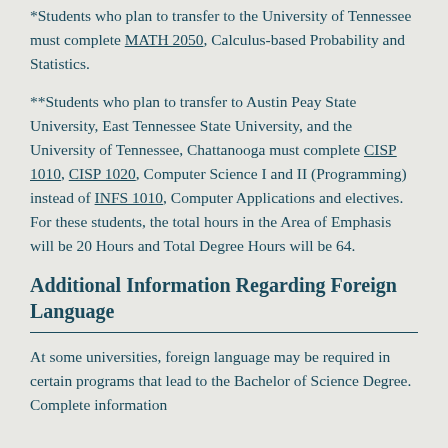*Students who plan to transfer to the University of Tennessee must complete MATH 2050, Calculus-based Probability and Statistics.
**Students who plan to transfer to Austin Peay State University, East Tennessee State University, and the University of Tennessee, Chattanooga must complete CISP 1010, CISP 1020, Computer Science I and II (Programming) instead of INFS 1010, Computer Applications and electives. For these students, the total hours in the Area of Emphasis will be 20 Hours and Total Degree Hours will be 64.
Additional Information Regarding Foreign Language
At some universities, foreign language may be required in certain programs that lead to the Bachelor of Science Degree. Complete information